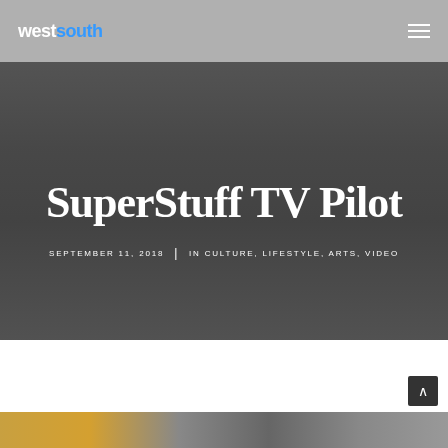westsouth
SuperStuff TV Pilot
SEPTEMBER 11, 2018  |  IN CULTURE, LIFESTYLE, ARTS, VIDEO
[Figure (photo): Blurred background photo used as hero image behind the article title, dark muted tones showing an indoor scene]
[Figure (photo): Bottom strip showing a blurred image with warm amber/orange tones on the left and darker tones on the right]